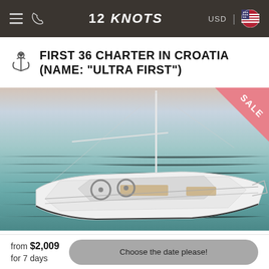12 KNOTS — USD | [US flag]
FIRST 36 CHARTER IN CROATIA (NAME: "ULTRA FIRST")
[Figure (photo): Aerial view of a white Beneteau First 36 sailboat named 'Ultra First' on calm blue-green water in Croatia, with mast and boom visible, viewed from above and behind.]
from $2,009
for 7 days
Choose the date please!